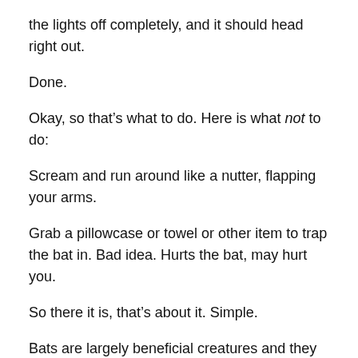the lights off completely, and it should head right out.
Done.
Okay, so that's what to do. Here is what not to do:
Scream and run around like a nutter, flapping your arms.
Grab a pillowcase or towel or other item to trap the bat in. Bad idea. Hurts the bat, may hurt you.
So there it is, that's about it. Simple.
Bats are largely beneficial creatures and they want to be in your house even less than you want them to be there. Be good to the bats and ease them out. Remember, “Don’t panic.”
Also, please see Bat World Sanctuary’s page on What to